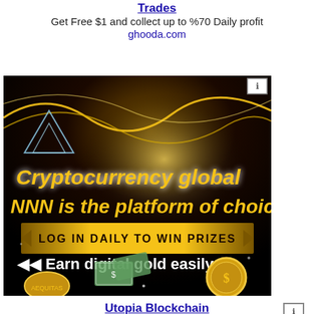Trades
Get Free $1 and collect up to %70 Daily profit
ghooda.com
[Figure (illustration): Cryptocurrency advertisement banner with dark background and gold glowing waves. Text reads: 'Cryptocurrency global NNN is the platform of choice', 'LOG IN DAILY TO WIN PRIZES', 'Earn digital gold easily'. Shows gold coins, dollar bills, and geometric shapes.]
Utopia Blockchain
features anonymous transactions with no metadata